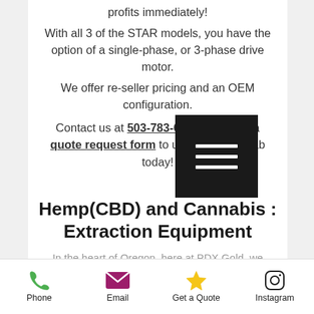profits immediately! With all 3 of the STAR models, you have the option of a single-phase, or 3-phase drive motor. We offer re-seller pricing and an OEM configuration. Contact us at 503-783-6550 or submit a quote request form to upgrade your lab today!
[Figure (screenshot): Black hamburger/menu icon overlay button on top of the text]
Hemp(CBD) and Cannabis : Extraction Equipment
In the heart of Oregon, here at PDX.Gold, we design one of a kind, safe, efficient, and high-quality botanical extraction equipment. Our products are designed and manufactured on-site. Our
Phone  Email  Get a Quote  Instagram